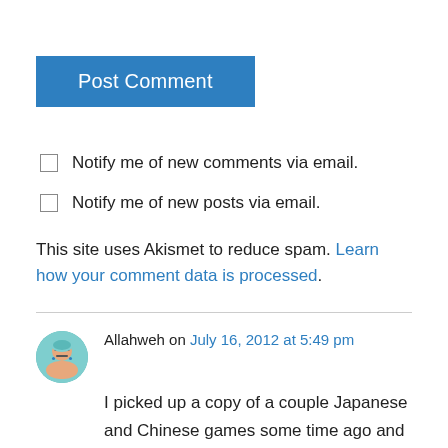Post Comment
Notify me of new comments via email.
Notify me of new posts via email.
This site uses Akismet to reduce spam. Learn how your comment data is processed.
Allahweh on July 16, 2012 at 5:49 pm
I picked up a copy of a couple Japanese and Chinese games some time ago and found out that though they were not region locked, they simply did not fit correctly in my Genesis model (in fact, none of my models). I ended up having